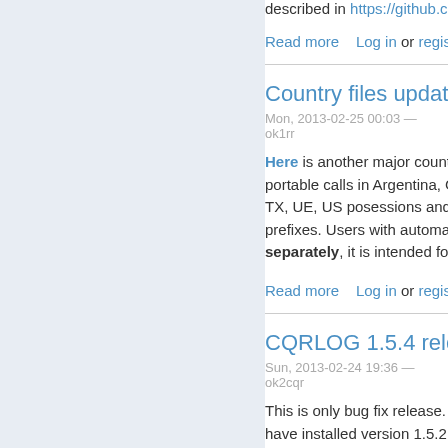described in https://github.com/ok2c...
Read more   Log in or register to p...
Country files update
Mon, 2013-02-25 00:03 — ok1rr
Here is another major country files u... portable calls in Argentina, Chubut (... TX, UE, US posessions and Antarct... prefixes. Users with automated upda... separately, it is intended for users p...
Read more   Log in or register to p...
CQRLOG 1.5.4 releas...
Sun, 2013-02-24 19:36 — ok2cqr
This is only bug fix release. I added... have installed version 1.5.2, please...